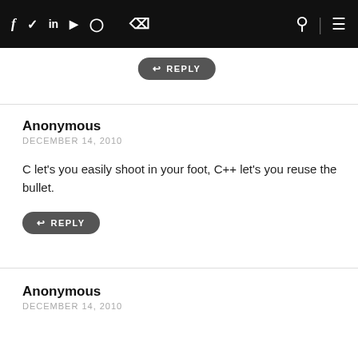f  in  YouTube  Instagram  RSS  [search] [menu]
↩ REPLY
Anonymous
DECEMBER 14, 2010

C let's you easily shoot in your foot, C++ let's you reuse the bullet.

↩ REPLY
Anonymous
DECEMBER 14, 2010